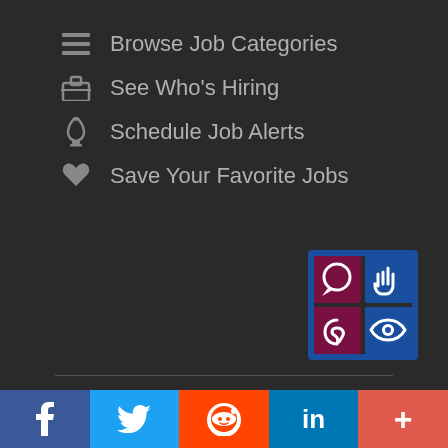Browse Job Categories
See Who's Hiring
Schedule Job Alerts
Save Your Favorite Jobs
[Figure (logo): Accessibility icon grid with four quadrants: speech bubble, hand pointer, ear, eye - blue border with maroon/blue quadrants]
Terms of Use — Privacy Policy
© Da Capo Publishing, Inc.
255 S. Champlain St., Ste 5.,
Burlington, VT 05401
802-865-1020 ext. 21
[Figure (infographic): Social media bar with Facebook, Twitter, Reddit, LinkedIn, and More buttons]